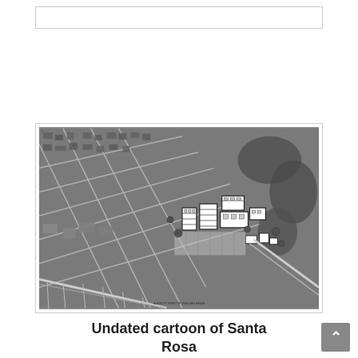[Figure (illustration): Empty white box at the top of the page, bordered with a thin gray line]
[Figure (photo): Black and white aerial/bird's-eye photograph of Santa Rosa showing an urban neighborhood with streets, buildings, trees, and a proposed development with illustrated cartoon-style buildings overlaid in the center-right area. A small label at bottom center reads 'A BIRD'S VIEW OF WALKER AREA'.]
Undated cartoon of Santa Rosa